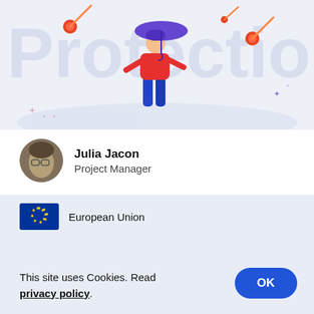[Figure (illustration): Hero illustration showing a person in blue pants and red shirt holding an umbrella, with meteors falling. Text 'Protection' visible in large light blue letters in background. Light blue/grey background.]
Julia Jacon
Project Manager
A development project (un)successfully started is soon discarded – 5 scenarios
[Figure (logo): European Union flag logo with blue background and yellow stars circle]
European Union
This site uses Cookies. Read privacy policy.